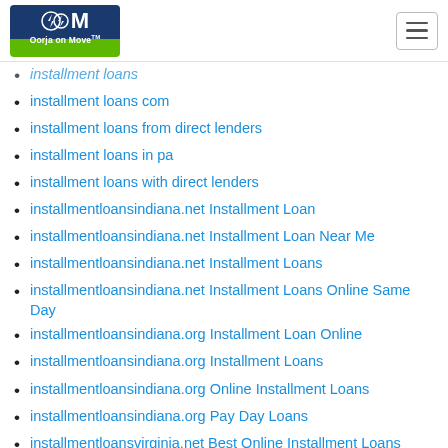Oorja on Move logo and navigation menu
installment loans
installment loans com
installment loans from direct lenders
installment loans in pa
installment loans with direct lenders
installmentloansindiana.net Installment Loan
installmentloansindiana.net Installment Loan Near Me
installmentloansindiana.net Installment Loans
installmentloansindiana.net Installment Loans Online Same Day
installmentloansindiana.org Installment Loan Online
installmentloansindiana.org Installment Loans
installmentloansindiana.org Online Installment Loans
installmentloansindiana.org Pay Day Loans
installmentloansvirginia.net Best Online Installment Loans